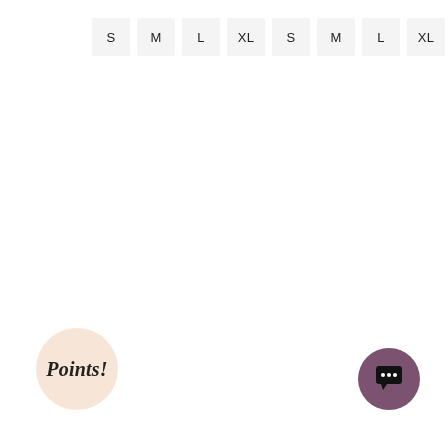[Figure (infographic): Two groups of size selector buttons (S, M, L, XL) displayed in light gray rounded squares, arranged horizontally at the top of the page. Left group and right group each contain S, M, L, XL buttons.]
[Figure (infographic): Circular badge with peach/cream background and cursive italic text reading 'Points!' positioned at the bottom left.]
[Figure (infographic): Dark mauve/purple circle containing a chat bubble icon with three dots, positioned at the bottom right corner.]